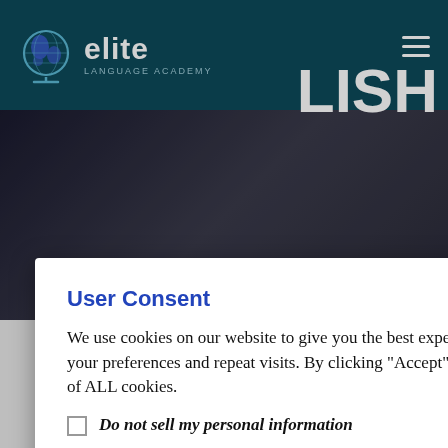elite LANGUAGE ACADEMY
User Consent
We use cookies on our website to give you the best experience by remembering your preferences and repeat visits. By clicking “Accept”, you consent to the use of ALL cookies.
Do not sell my personal information
.
Cookie settings  ACCEPT
English